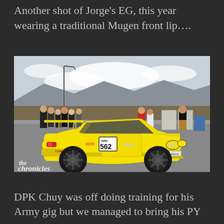Another shot of Jorge's EG, this year wearing a traditional Mugen front lip….
[Figure (photo): A yellow Acura Integra Type R with number plate 562 and DPK sticker, parked at an outdoor car event. The car has dark wheels and a Mugen front lip. People are visible in the background along with mountains and portable toilets. The Chronicles / stickyoilrob.com watermark is visible in the bottom left.]
DPK Chuy was off doing training for his Army gig but we managed to bring his PY